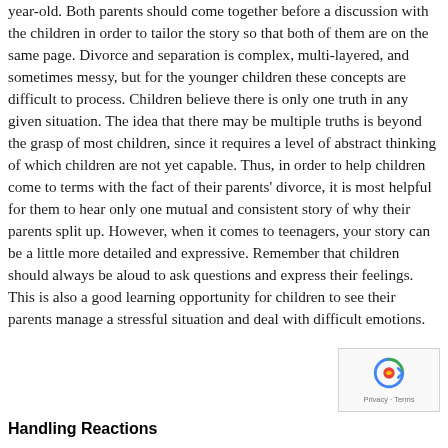year-old. Both parents should come together before a discussion with the children in order to tailor the story so that both of them are on the same page. Divorce and separation is complex, multi-layered, and sometimes messy, but for the younger children these concepts are difficult to process. Children believe there is only one truth in any given situation. The idea that there may be multiple truths is beyond the grasp of most children, since it requires a level of abstract thinking of which children are not yet capable. Thus, in order to help children come to terms with the fact of their parents' divorce, it is most helpful for them to hear only one mutual and consistent story of why their parents split up. However, when it comes to teenagers, your story can be a little more detailed and expressive. Remember that children should always be aloud to ask questions and express their feelings. This is also a good learning opportunity for children to see their parents manage a stressful situation and deal with difficult emotions.
[Figure (other): reCAPTCHA badge with Privacy and Terms links]
Handling Reactions